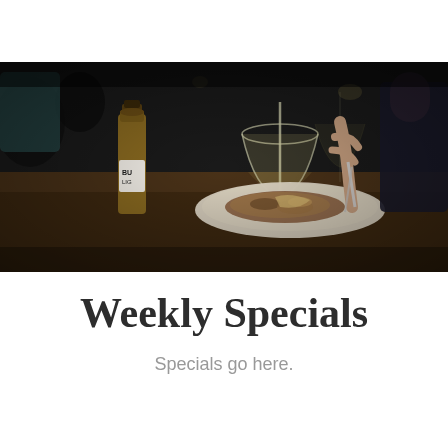[Figure (photo): Dark atmospheric restaurant/bar photo showing a person eating food on a plate, with a beer bottle labeled 'BUD LIGHT' on the left, a wine glass in the center, and another person visible in the background wearing teal. Dark wooden bar surface.]
Weekly Specials
Specials go here.